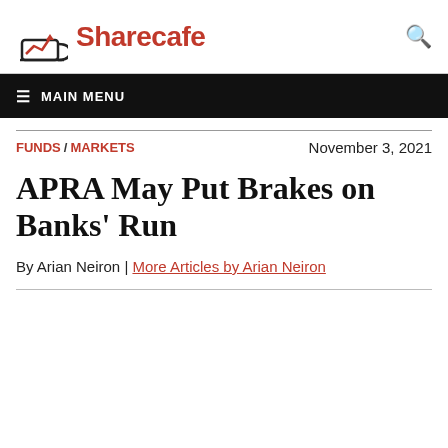Sharecafe
≡ MAIN MENU
FUNDS / MARKETS    November 3, 2021
APRA May Put Brakes on Banks' Run
By Arian Neiron | More Articles by Arian Neiron